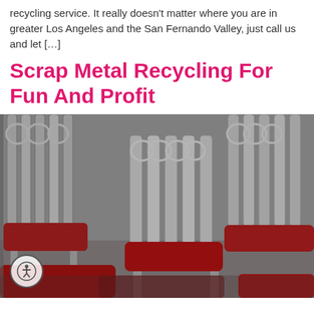recycling service. It really doesn't matter where you are in greater Los Angeles and the San Fernando Valley, just call us and let […]
Scrap Metal Recycling For Fun And Profit
[Figure (photo): A large pile of silver metal Chiavari/Napoleon chairs stacked together, many with red cushioned seats, photographed indoors.]